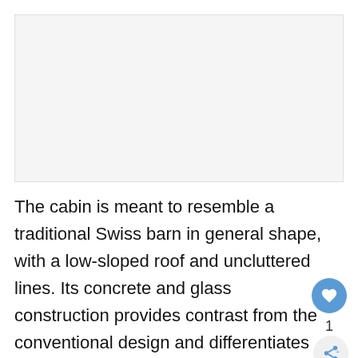[Figure (photo): Blank/placeholder image area representing a photo of a cabin]
The cabin is meant to resemble a traditional Swiss barn in general shape, with a low-sloped roof and uncluttered lines. Its concrete and glass construction provides contrast from the conventional design and differentiates the building from less modern structures.